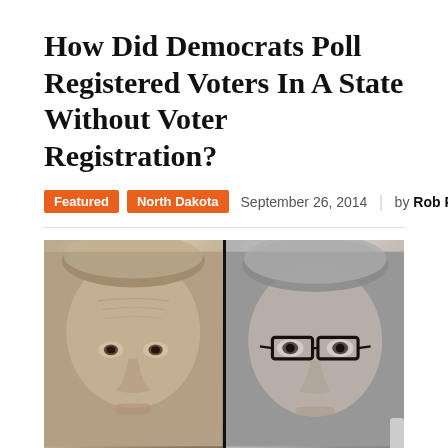How Did Democrats Poll Registered Voters In A State Without Voter Registration?
Featured  North Dakota  September 26, 2014  by Rob Port
[Figure (photo): Side-by-side close-up photos of two older men. Left: a man with blondish-grey hair, forehead wrinkles, no glasses. Right: a man with grey hair and dark-rimmed glasses.]